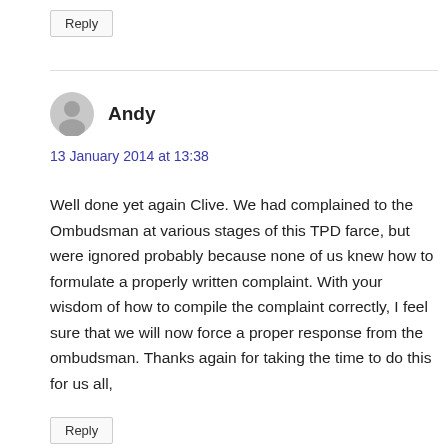Reply
Andy
13 January 2014 at 13:38
Well done yet again Clive. We had complained to the Ombudsman at various stages of this TPD farce, but were ignored probably because none of us knew how to formulate a properly written complaint. With your wisdom of how to compile the complaint correctly, I feel sure that we will now force a proper response from the ombudsman. Thanks again for taking the time to do this for us all,
Reply